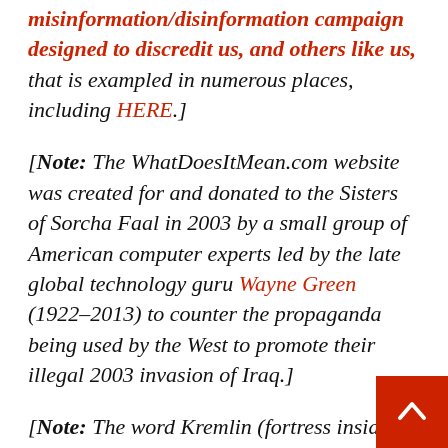misinformation/disinformation campaign designed to discredit us, and others like us, that is exampled in numerous places, including HERE.]
[Note: The WhatDoesItMean.com website was created for and donated to the Sisters of Sorcha Faal in 2003 by a small group of American computer experts led by the late global technology guru Wayne Green (1922–2013) to counter the propaganda being used by the West to promote their illegal 2003 invasion of Iraq.]
[Note: The word Kremlin (fortress inside a city) as used in this report refers to Russian citadels including in Moscow, having cathedrals where female Schema monks (Orthodox nuns) reside,